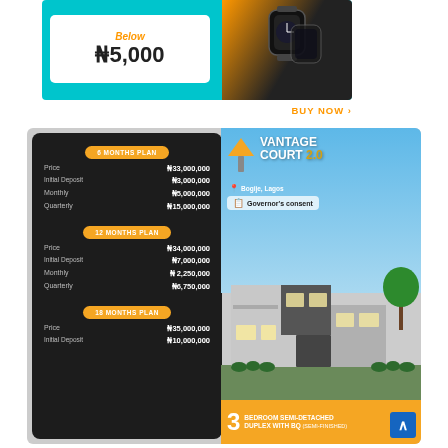[Figure (infographic): Advertisement banner showing smartwatches for sale below ₦5,000 with a 'BUY NOW' call to action on a teal background.]
[Figure (infographic): Vantage Court 2.0 real estate advertisement showing a 3-bedroom semi-detached duplex with BQ (semi-finished) in Bogije, Lagos with Governor's consent. Left panel shows pricing plans: 6 Months Plan (Price ₦33,000,000, Initial Deposit ₦3,000,000, Monthly ₦5,000,000, Quarterly ₦15,000,000), 12 Months Plan (Price ₦34,000,000, Initial Deposit ₦7,000,000, Monthly ₦2,250,000, Quarterly ₦6,750,000), 18 Months Plan (Price ₦35,000,000, Initial Deposit ₦10,000,000).]